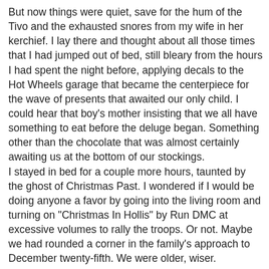But now things were quiet, save for the hum of the Tivo and the exhausted snores from my wife in her kerchief. I lay there and thought about all those times that I had jumped out of bed, still bleary from the hours I had spent the night before, applying decals to the Hot Wheels garage that became the centerpiece for the wave of presents that awaited our only child. I could hear that boy's mother insisting that we all have something to eat before the deluge began. Something other than the chocolate that was almost certainly awaiting us at the bottom of our stockings.
I stayed in bed for a couple more hours, taunted by the ghost of Christmas Past. I wondered if I would be doing anyone a favor by going into the living room and turning on "Christmas In Hollis" by Run DMC at excessive volumes to rally the troops. Or not. Maybe we had rounded a corner in the family's approach to December twenty-fifth. We were older, wiser. Christmas could wait. I put on my shoes and sweatshirt and went out for a run.
When I came back, I recognized some of that old energy. It wasn't the vibrating, wild-eyed fury that I used to know, but the excitement had returned. We set to work, the three of us, alternately tearing into the carefully wrapped items beneath